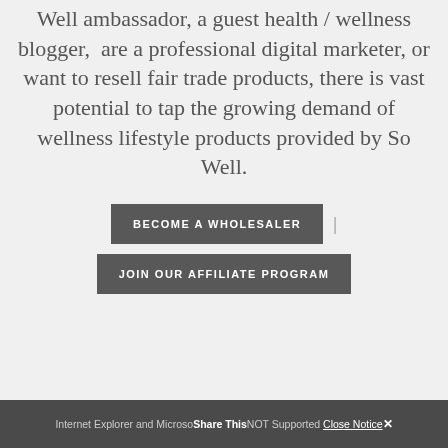Well ambassador, a guest health / wellness blogger, are a professional digital marketer, or want to resell fair trade products, there is vast potential to tap the growing demand of wellness lifestyle products provided by So Well.
BECOME A WHOLESALER | JOIN OUR AFFILIATE PROGRAM
Internet Explorer and Microsoft Edge are NOT Supported Close Notice ✕  Share This